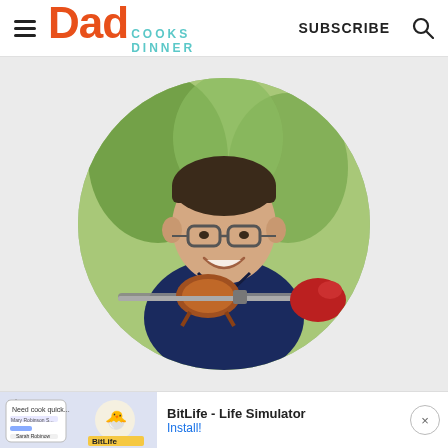Dad Cooks Dinner — SUBSCRIBE
[Figure (photo): Circular portrait photo of a man wearing glasses and a dark blue polo shirt, holding a rotisserie chicken on a spit with a red oven mitt, outdoors with trees in the background. The 'Dad Cooks Dinner' website profile photo.]
[Figure (screenshot): Ad banner at the bottom: BitLife - Life Simulator app advertisement with Install! link, showing app icon and screenshot on the left side.]